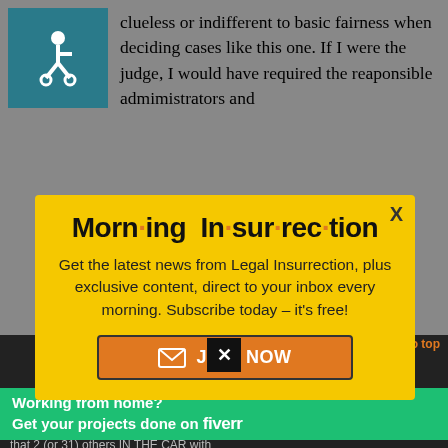clueless or indifferent to basic fairness when deciding cases like this one. If I were the judge, I would have required the reaponsible admimistrators and
[Figure (other): Yellow modal popup for Morning Insurrection newsletter subscription with orange JOIN NOW button]
critique, has a lot more to it
The story is how the judge got pissed
[Figure (other): Small black X close button]
[Figure (other): Fiverr advertisement banner: Working from home? Get your projects done on fiverr]
that 2 (or 31) others IN THE CAR with